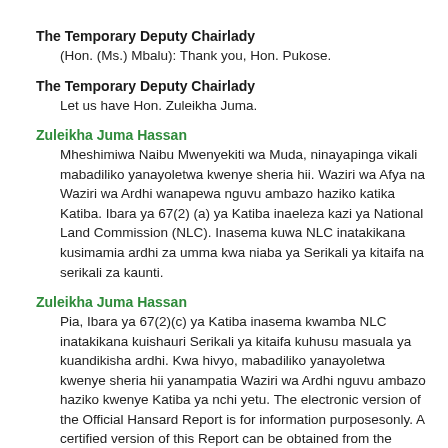The Temporary Deputy Chairlady
(Hon. (Ms.) Mbalu): Thank you, Hon. Pukose.
The Temporary Deputy Chairlady
Let us have Hon. Zuleikha Juma.
Zuleikha Juma Hassan
Mheshimiwa Naibu Mwenyekiti wa Muda, ninayapinga vikali mabadiliko yanayoletwa kwenye sheria hii. Waziri wa Afya na Waziri wa Ardhi wanapewa nguvu ambazo haziko katika Katiba. Ibara ya 67(2) (a) ya Katiba inaeleza kazi ya National Land Commission (NLC). Inasema kuwa NLC inatakikana kusimamia ardhi za umma kwa niaba ya Serikali ya kitaifa na serikali za kaunti.
Zuleikha Juma Hassan
Pia, Ibara ya 67(2)(c) ya Katiba inasema kwamba NLC inatakikana kuishauri Serikali ya kitaifa kuhusu masuala ya kuandikisha ardhi. Kwa hivyo, mabadiliko yanayoletwa kwenye sheria hii yanampatia Waziri wa Ardhi nguvu ambazo haziko kwenye Katiba ya nchi yetu. The electronic version of the Official Hansard Report is for information purposesonly. A certified version of this Report can be obtained from the Hansard Editor.